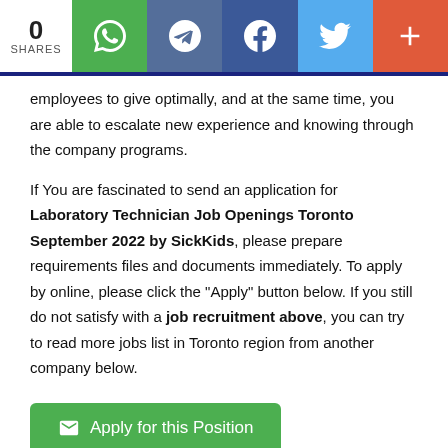0 SHARES | WhatsApp | Telegram | Facebook | Twitter | More
employees to give optimally, and at the same time, you are able to escalate new experience and knowing through the company programs.
If You are fascinated to send an application for Laboratory Technician Job Openings Toronto September 2022 by SickKids, please prepare requirements files and documents immediately. To apply by online, please click the "Apply" button below. If you still do not satisfy with a job recruitment above, you can try to read more jobs list in Toronto region from another company below.
Apply for this Position
Related Jobs